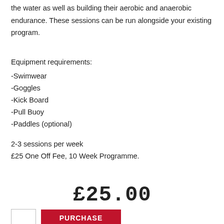the water as well as building their aerobic and anaerobic endurance. These sessions can be run alongside your existing program.
Equipment requirements:
-Swimwear
-Goggles
-Kick Board
-Pull Buoy
-Paddles (optional)
2-3 sessions per week
£25 One Off Fee, 10 Week Programme.
£25.00